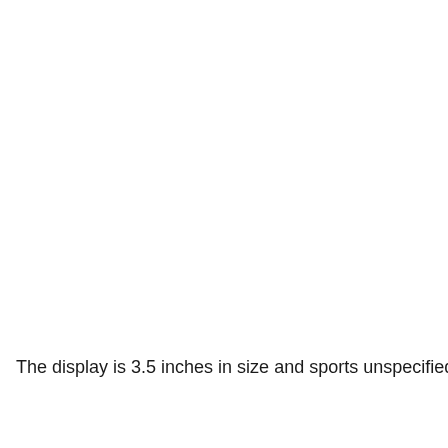The display is 3.5 inches in size and sports unspecified